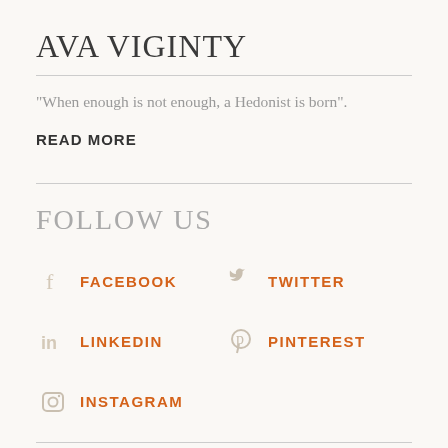AVA VIGINTY
“When enough is not enough, a Hedonist is born”.
READ MORE
FOLLOW US
FACEBOOK
TWITTER
LINKEDIN
PINTEREST
INSTAGRAM
TRENDING